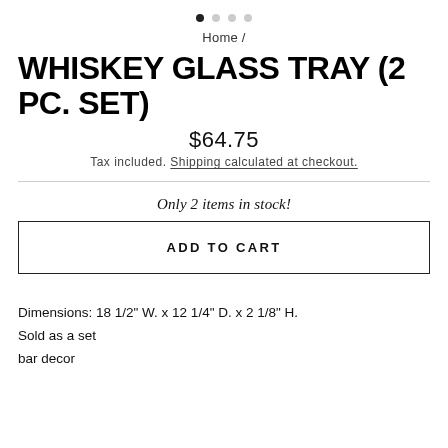Home /
WHISKEY GLASS TRAY (2 PC. SET)
$64.75
Tax included. Shipping calculated at checkout.
Only 2 items in stock!
ADD TO CART
Dimensions: 18 1/2" W. x 12 1/4" D. x 2 1/8" H.
Sold as a set
bar decor